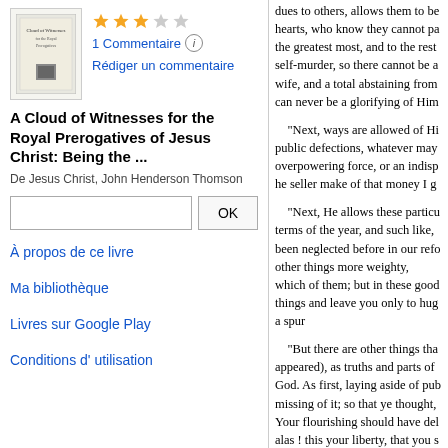[Figure (illustration): Book cover thumbnail for 'A Cloud of Witnesses for the Royal Prerogatives of Jesus Christ']
1 Commentaire (i)
Rédiger un commentaire
A Cloud of Witnesses for the Royal Prerogatives of Jesus Christ: Being the ...
De Jesus Christ, John Henderson Thomson
À propos de ce livre
Ma bibliothèque
Livres sur Google Play
Conditions d' utilisation
dues to others, allows them to be hearts, who know they cannot pa the greatest most, and to the rest self-murder, so there cannot be a wife, and a total abstaining from can never be a glorifying of Him

"Next, ways are allowed of Hi public defections, whatever may overpowering force, or an indisp he seller make of that money I g

"Next, He allows these particu terms of the year, and such like, been neglected before in our refo other things more weighty, which of them; but in these good things and leave you only to hug a spur

"But there are other things tha appeared), as truths and parts of God. As first, laying aside of pub missing of it; so that ye thought, Your flourishing should have del alas ! this your liberty, that you s your other beguiles, and was no